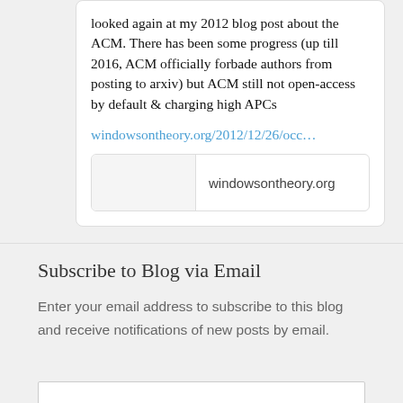looked again at my 2012 blog post about the ACM. There has been some progress (up till 2016, ACM officially forbade authors from posting to arxiv) but ACM still not open-access by default & charging high APCs
windowsontheory.org/2012/12/26/occ...
[Figure (other): Link preview card showing windowsontheory.org domain with a blank image placeholder on the left]
Subscribe to Blog via Email
Enter your email address to subscribe to this blog and receive notifications of new posts by email.